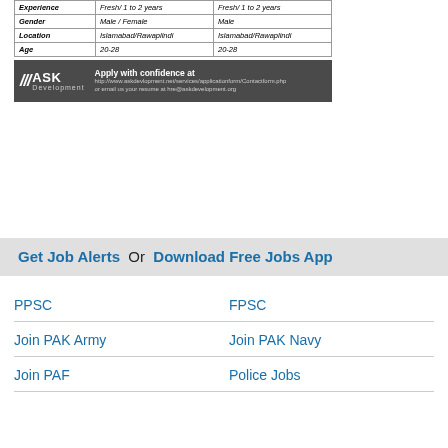|  | Column 1 | Column 2 |
| --- | --- | --- |
| Experience | Fresh/ 1 to 2 years | Fresh/ 1 to 2 years |
| Gender | Male / Female | Male |
| Location | Islamabad/Rawaplindi | Islamabad/Rawaplindi |
| Age | 20-28 | 20-28 |
[Figure (logo): ASK Development logo banner with apply instructions: Apply with confidence at http://www.askdevlopment.net/services/applicationform/Contactform.php or email us your resume at hre@askdevelopment.org]
Get Job Alerts  Or  Download Free Jobs App
PPSC
FPSC
Join PAK Army
Join PAK Navy
Join PAF
Police Jobs